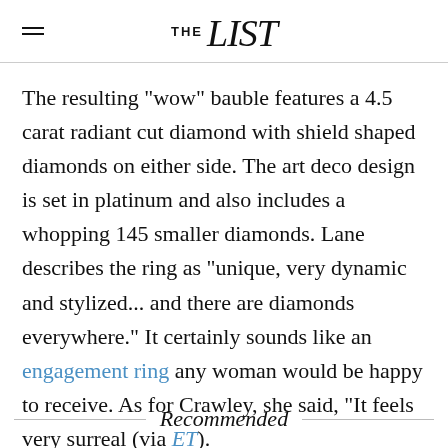THE List
The resulting "wow" bauble features a 4.5 carat radiant cut diamond with shield shaped diamonds on either side. The art deco design is set in platinum and also includes a whopping 145 smaller diamonds. Lane describes the ring as "unique, very dynamic and stylized... and there are diamonds everywhere." It certainly sounds like an engagement ring any woman would be happy to receive. As for Crawley, she said, "It feels very surreal (via ET).
Recommended